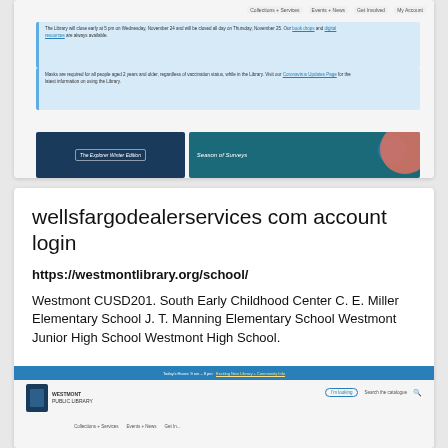[Figure (screenshot): Screenshot of a library website showing navigation bar, two blue notice boxes about library closure and coronavirus guidelines, and two banner images at the bottom: 'The Explorer Winter Edition' and 'Season of Surveys']
wellsfargodealerservices com account login
https://westmontlibrary.org/school/
Westmont CUSD201. South Early Childhood Center C. E. Miller Elementary School J. T. Manning Elementary School Westmont Junior High School Westmont High School.
[Figure (screenshot): Screenshot of Westmont Public Library website showing a blue announcement bar, library logo, search interface with 'I'm looking' button and 'Search the catalogue' field, and navigation menu]